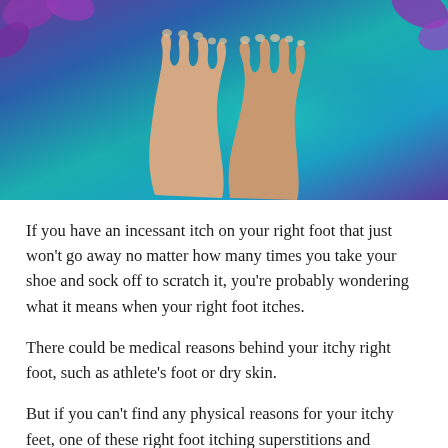[Figure (photo): Close-up photo of two bare feet resting on a colorful teal, purple, and blue background with flower petals.]
If you have an incessant itch on your right foot that just won't go away no matter how many times you take your shoe and sock off to scratch it, you're probably wondering what it means when your right foot itches.
There could be medical reasons behind your itchy right foot, such as athlete's foot or dry skin.
But if you can't find any physical reasons for your itchy feet, one of these right foot itching superstitions and cultural beliefs about the meaning of an itchy right foot might ring true for you.
What does it mean when your right foot itches?
Spritually, the left foot is generally considered the “negative” foot, meaning that an itchy left foot is a symbol of bad things to come.